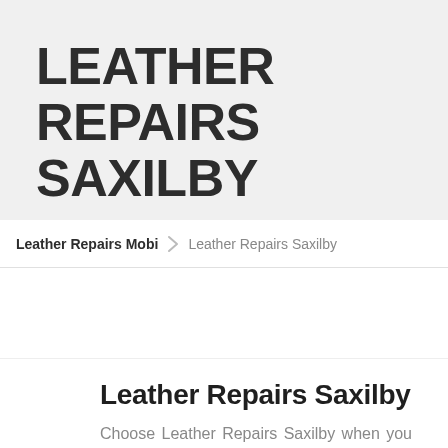LEATHER REPAIRS SAXILBY
Leather Repairs Mobi > Leather Repairs Saxilby
Leather Repairs Saxilby
Choose Leather Repairs Saxilby when you need a mobile leather repairs team you can trust. Our expert leather repair team will...